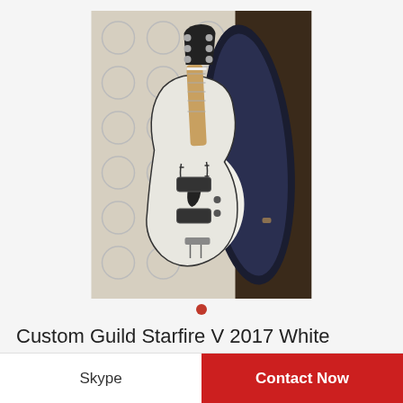[Figure (photo): A white Guild Starfire V semi-hollow electric guitar displayed in an open black Guild hardcase on a patterned rug and dark wood floor background.]
Custom Guild Starfire V 2017 White w/Guild hardcase and FREE Shipping!
Skype
Contact Now